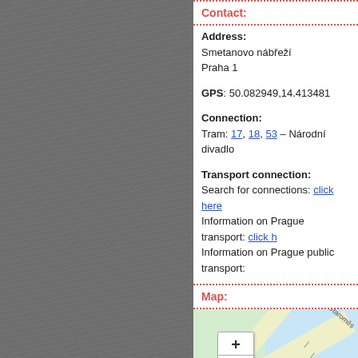Contact:
Address:
Smetanovo nábřeží
Praha 1
GPS: 50.082949,14.413481
Connection:
Tram: 17, 18, 53 – Národní divadlo
Transport connection:
Search for connections: click here
Information on Prague transport: click h...
Information on Prague public transport:
Map:
[Figure (map): Street map showing Smetanovo nábřeží area in Praha 1, with Staroměstský label, zoom controls (+/-), museum icon and tram icon.]